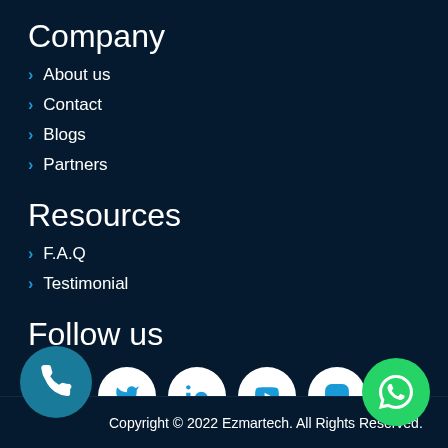Company
About us
Contact
Blogs
Partners
Resources
F.A.Q
Testimonial
Follow us
[Figure (infographic): Social media icons: Facebook, Twitter, LinkedIn, YouTube, Instagram]
Copyright © 2022 Ezmartech. All Rights Reserved.